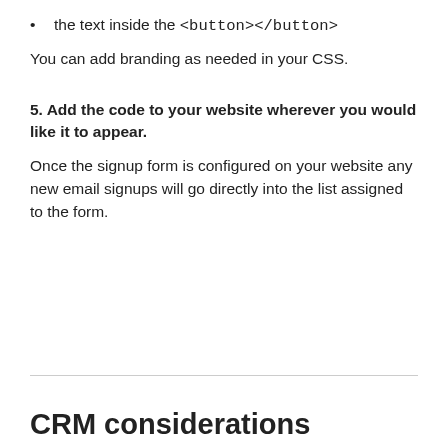the text inside the <button></button>
You can add branding as needed in your CSS.
5. Add the code to your website wherever you would like it to appear.
Once the signup form is configured on your website any new email signups will go directly into the list assigned to the form.
CRM considerations